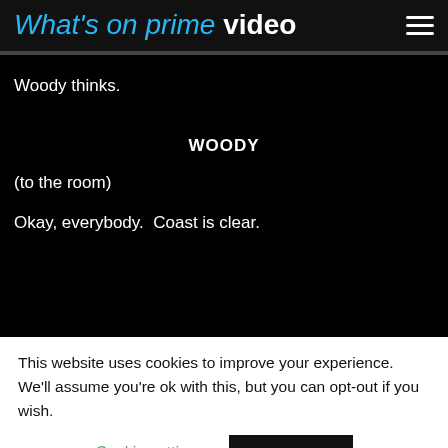What's on prime video
Woody thinks.
WOODY
(to the room)
Okay, everybody.  Coast is clear.
This website uses cookies to improve your experience. We'll assume you're ok with this, but you can opt-out if you wish.
Cookie settings
ACCEPT